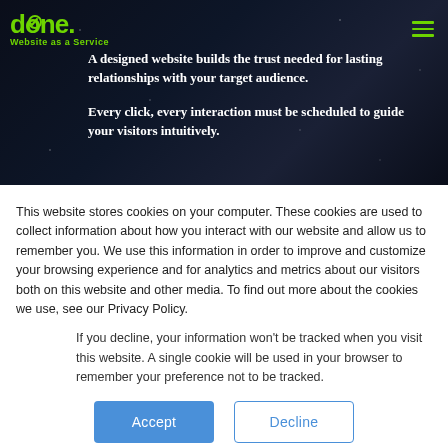[Figure (screenshot): Dark space-themed website hero section with navigation bar containing green 'done. Website as a Service' logo and hamburger menu]
A designed website builds the trust needed for lasting relationships with your target audience.
Every click, every interaction must be scheduled to guide your visitors intuitively.
This website stores cookies on your computer. These cookies are used to collect information about how you interact with our website and allow us to remember you. We use this information in order to improve and customize your browsing experience and for analytics and metrics about our visitors both on this website and other media. To find out more about the cookies we use, see our Privacy Policy.
If you decline, your information won't be tracked when you visit this website. A single cookie will be used in your browser to remember your preference not to be tracked.